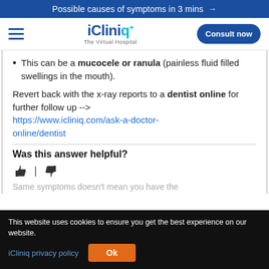Possible causes of symptoms in 3 mins →
[Figure (logo): iCliniq+ The Virtual Hospital logo with hamburger menu and Consult now button]
This can be a mucocele or ranula (painless fluid filled swellings in the mouth).
Revert back with the x-ray reports to a dentist online for further follow up --> https://www.icliniq.com/ask-a-doctor-online/dentist
Was this answer helpful?
👍 | 👎
Same symptoms doesn't mean you have the
This website uses cookies to ensure you get the best experience on our website.
iCliniq privacy policy  Ok